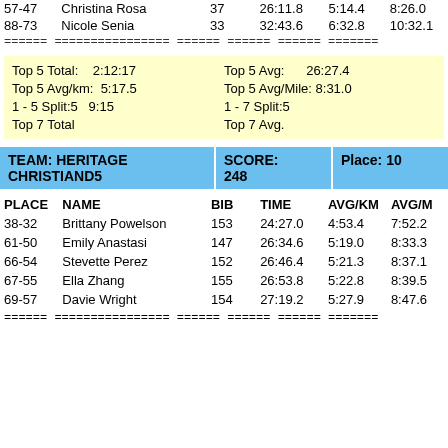| PLACE | NAME | BIB | TIME | AVG/KM | AVG/MILE |
| --- | --- | --- | --- | --- | --- |
| 57-47 | Christina Rosa | 37 | 26:11.8 | 5:14.4 | 8:26.0 |
| 88-73 | Nicole Senia | 33 | 32:43.6 | 6:32.8 | 10:32.1 |
| ====== | ================ | ====== | ====== | ====== | ======= |
Top 5 Total: 2:12:17   Top 5 Avg: 26:27.4
Top 5 Avg/km: 5:17.5   Top 5 Avg/Mile: 8:31.0
1 - 5 Split:5  9:15   1 - 7 Split:5
Top 7 Total               Top 7 Avg.
| TEAM | SCORE | Place |
| --- | --- | --- |
| HERITAGE CHRISTIAND5 | 248 | 10 |
| PLACE | NAME | BIB | TIME | AVG/KM | AVG/M |
| --- | --- | --- | --- | --- | --- |
| 38-32 | Brittany Powelson | 153 | 24:27.0 | 4:53.4 | 7:52.2 |
| 61-50 | Emily Anastasi | 147 | 26:34.6 | 5:19.0 | 8:33.3 |
| 66-54 | Stevette Perez | 152 | 26:46.4 | 5:21.3 | 8:37.1 |
| 67-55 | Ella Zhang | 155 | 26:53.8 | 5:22.8 | 8:39.5 |
| 69-57 | Davie Wright | 154 | 27:19.2 | 5:27.9 | 8:47.6 |
| ====== | ================ | ====== | ====== | ====== | ======= |